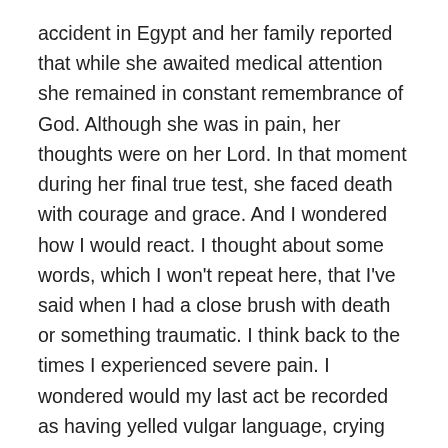accident in Egypt and her family reported that while she awaited medical attention she remained in constant remembrance of God. Although she was in pain, her thoughts were on her Lord. In that moment during her final true test, she faced death with courage and grace. And I wondered how I would react. I thought about some words, which I won't repeat here, that I've said when I had a close brush with death or something traumatic. I think back to the times I experienced severe pain. I wondered would my last act be recorded as having yelled vulgar language, crying about why me, or would I remember my Lord instead.  I realized that only through constant practice of remembrance and prayer that I out of habit, I would just do the right thing without thinking about it.
We practice and practice so that during a real moment when we are tested, our habitus goes into auto pilot and